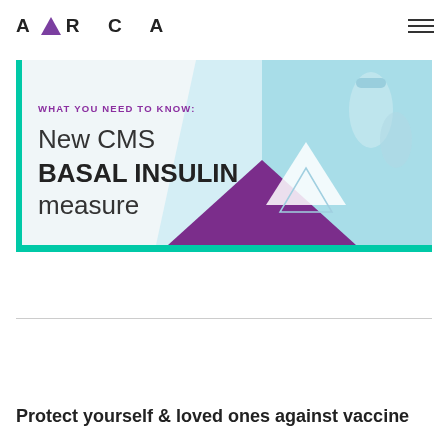[Figure (logo): ABARCA logo with purple triangle replacing the letter A in the middle, and a hamburger menu icon on the right]
[Figure (infographic): Banner image with teal/light blue background and photograph of insulin vials on the right. Text on left reads 'WHAT YOU NEED TO KNOW:' in purple, then 'New CMS BASAL INSULIN measure' in large dark text. Purple and white geometric triangle shapes are overlaid on the photo portion. A teal border runs along the left and bottom edges.]
Protect yourself & loved ones against vaccine